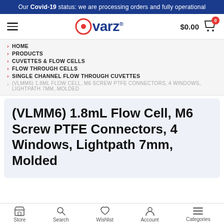Our Covid-19 status: we are processing orders and fully operational
[Figure (logo): Ovarz logo with red circle O and blue text]
> HOME
> PRODUCTS
> CUVETTES & FLOW CELLS
> FLOW THROUGH CELLS
> SINGLE CHANNEL FLOW THROUGH CUVETTES
> (VLMM6) 1.8ML FLOW CELL, M6 SCREW PTFE CONNECTORS, 4 WINDOWS, LIGHTPATH 7MM, MOLDED
(VLMM6) 1.8mL Flow Cell, M6 Screw PTFE Connectors, 4 Windows, Lightpath 7mm, Molded
Store  Search  Wishlist  Account  Categories